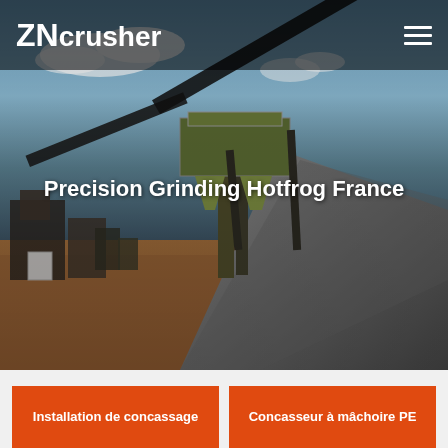ZNcrusher
[Figure (photo): Industrial crushing/mining facility with conveyor belts, industrial structure with green hoppers, large pile of crushed stone/gravel on the right, dirt ground, blue sky with clouds in background]
Precision Grinding Hotfrog France
Installation de concassage
Concasseur à mâchoire PE